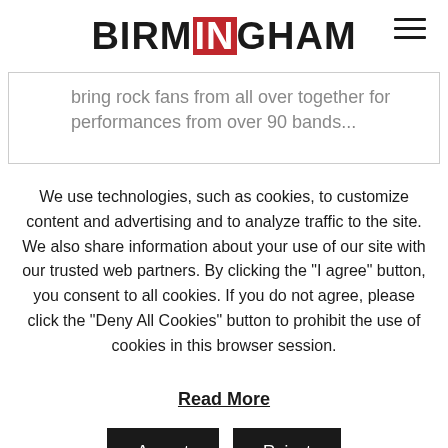BIRMINGHAM
bring rock fans from all over together for performances from over 90 bands...
We use technologies, such as cookies, to customize content and advertising and to analyze traffic to the site. We also share information about your use of our site with our trusted web partners. By clicking the "I agree" button, you consent to all cookies. If you do not agree, please click the "Deny All Cookies" button to prohibit the use of cookies in this browser session.
Read More
Accept  Reject